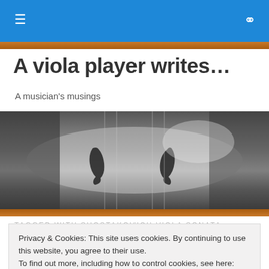≡  🔍
A viola player writes…
A musician's musings
[Figure (photo): Close-up black and white photograph of a viola body showing f-holes and strings, framed by a warm wood-colored border at top and bottom]
TAGGED WITH SHOSTAKOVICH VIOLA SONATA
Privacy & Cookies: This site uses cookies. By continuing to use this website, you agree to their use.
To find out more, including how to control cookies, see here: Cookie Policy
Close and accept
[Figure (photo): Partial black and white photograph visible at the very bottom of the page]